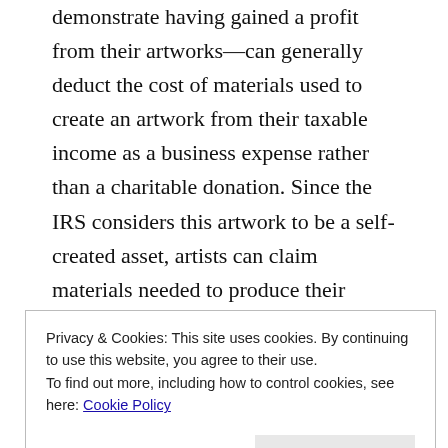demonstrate having gained a profit from their artworks—can generally deduct the cost of materials used to create an artwork from their taxable income as a business expense rather than a charitable donation. Since the IRS considers this artwork to be a self-created asset, artists can claim materials needed to produce their original creative work, such as paints, brushes, canvases and frames, as business-related expenses on their federal tax returns (IRS Form 1040 Schedule C). It should be noted that nontraditional materials,
Privacy & Cookies: This site uses cookies. By continuing to use this website, you agree to their use.
To find out more, including how to control cookies, see here: Cookie Policy
artist can only deduct the charcoal and paper